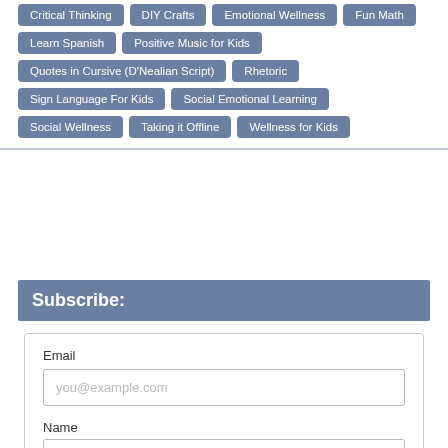Critical Thinking
DIY Crafts
Emotional Wellness
Fun Math
Learn Spanish
Positive Music for Kids
Quotes in Cursive (D'Nealian Script)
Rhetoric
Sign Language For Kids
Social Emotional Learning
Social Wellness
Taking it Offline
Wellness for Kids
Subscribe:
Email
you@example.com
Name